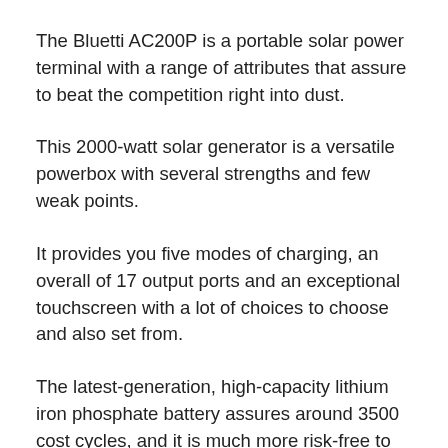The Bluetti AC200P is a portable solar power terminal with a range of attributes that assure to beat the competition right into dust.
This 2000-watt solar generator is a versatile powerbox with several strengths and few weak points.
It provides you five modes of charging, an overall of 17 output ports and an exceptional touchscreen with a lot of choices to choose and also set from.
The latest-generation, high-capacity lithium iron phosphate battery assures around 3500 cost cycles, and it is much more risk-free to the